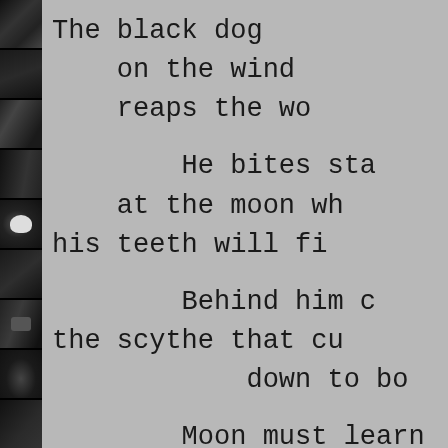[Figure (photo): Vertical strip of black and white photographs along the left edge of the page, showing dark shelves, objects, and a skull]
The black dog
    on the wind
    reaps the wo

        He bites sta
    at the moon wh
his teeth will fi

        Behind him c
the scythe that cu
            down to bo

        Moon must learn
            monkeys to eat
            man to live on
        where the black